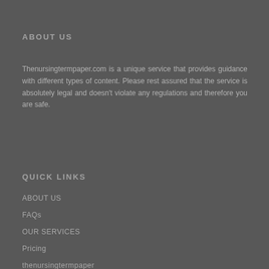ABOUT US
Thenursingtermpaper.com is a unique service that provides guidance with different types of content. Please rest assured that the service is absolutely legal and doesn't violate any regulations and therefore you are safe.
QUICK LINKS
ABOUT US
FAQs
OUR SERVICES
Pricing
thenursingtermpaper